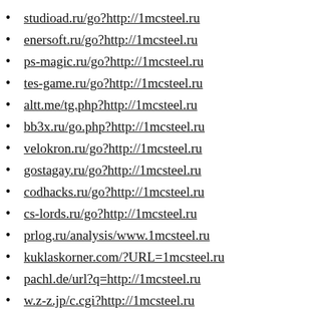studioad.ru/go?http://1mcsteel.ru
enersoft.ru/go?http://1mcsteel.ru
ps-magic.ru/go?http://1mcsteel.ru
tes-game.ru/go?http://1mcsteel.ru
altt.me/tg.php?http://1mcsteel.ru
bb3x.ru/go.php?http://1mcsteel.ru
velokron.ru/go?http://1mcsteel.ru
gostagay.ru/go?http://1mcsteel.ru
codhacks.ru/go?http://1mcsteel.ru
cs-lords.ru/go?http://1mcsteel.ru
prlog.ru/analysis/www.1mcsteel.ru
kuklaskorner.com/?URL=1mcsteel.ru
pachl.de/url?q=http://1mcsteel.ru
w.z-z.jp/c.cgi?http://1mcsteel.ru
www.shirwell.com/?URL=1mcsteel.ru
jc-log.jmirus.de/?URL=1mcsteel.ru
referless.com/?http://1mcsteel.ru
onfry.com/social/?url=1mcsteel.ru
rivannamusic.com/?URL=1mcsteel.ru